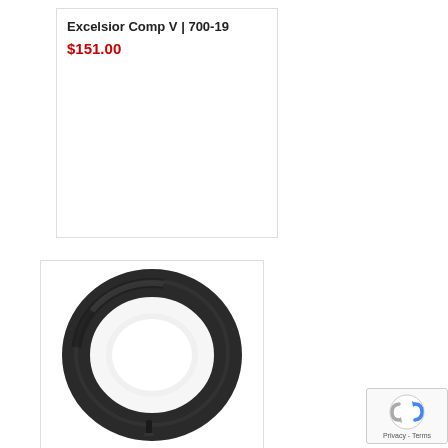Excelsior Comp V | 700-19
$151.00
[Figure (photo): A black bicycle inner tube (torus shape) viewed at an angle, showing the round rubber tube with a valve stem visible at the bottom.]